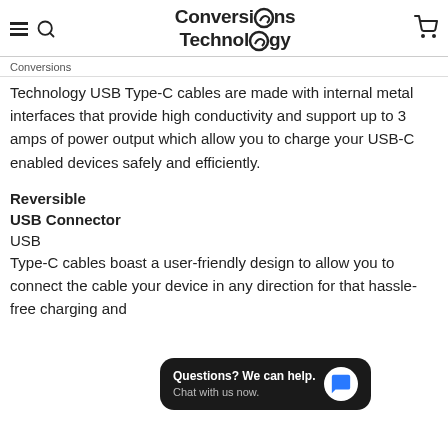Conversions Technology
Conversions
Technology USB Type-C cables are made with internal metal interfaces that provide high conductivity and support up to 3 amps of power output which allow you to charge your USB-C enabled devices safely and efficiently.
Reversible
USB Connector
USB
Type-C cables boast a user-friendly design to allow you to connect the cable your device in any direction for that hassle-free charging and
[Figure (screenshot): Chat widget popup with text 'Questions? We can help. Chat with us now.' and a blue speech bubble icon on dark background]